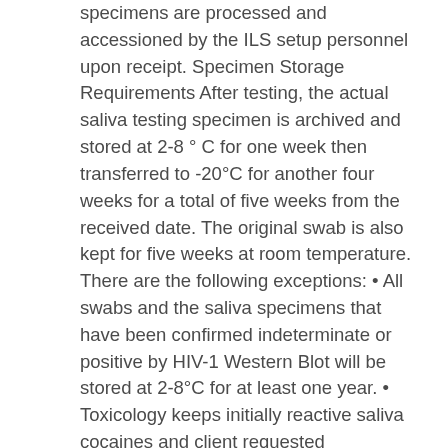specimens are processed and accessioned by the ILS setup personnel upon receipt. Specimen Storage Requirements After testing, the actual saliva testing specimen is archived and stored at 2-8 ° C for one week then transferred to -20°C for another four weeks for a total of five weeks from the received date. The original swab is also kept for five weeks at room temperature. There are the following exceptions: • All swabs and the saliva specimens that have been confirmed indeterminate or positive by HIV-1 Western Blot will be stored at 2-8°C for at least one year. • Toxicology keeps initially reactive saliva cocaines and client requested confirmation saliva cotinines for one year at -20°C. • HIV/Serology will keep the swabs of the initially reactive cocaines for at least one year at room temperature. 4.4 Specimen Rejection Grossly discolored samples or